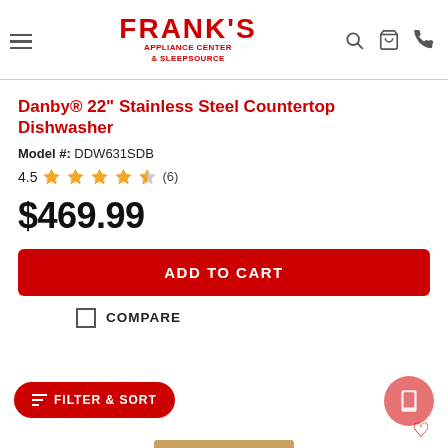FRANK'S APPLIANCE CENTER & SLEEPSOURCE
Danby® 22" Stainless Steel Countertop Dishwasher
Model #: DDW631SDB
4.5 (6)
$469.99
ADD TO CART
COMPARE
FILTER & SORT